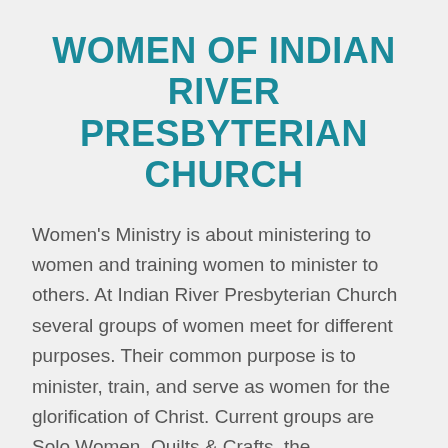WOMEN OF INDIAN RIVER PRESBYTERIAN CHURCH
Women's Ministry is about ministering to women and training women to minister to others. At Indian River Presbyterian Church several groups of women meet for different purposes. Their common purpose is to minister, train, and serve as women for the glorification of Christ. Current groups are Solo Women, Quilts & Crafts, the Bereavement